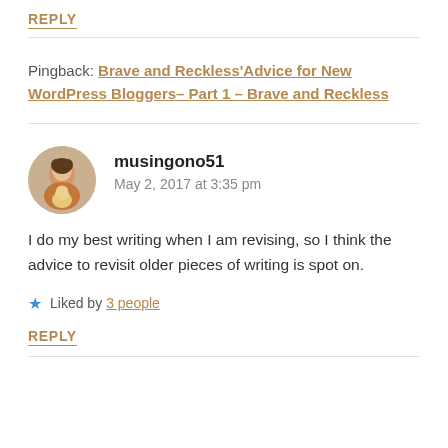REPLY
Pingback: Brave and Reckless'Advice for New WordPress Bloggers– Part 1 – Brave and Reckless
musingono51
May 2, 2017 at 3:35 pm
I do my best writing when I am revising, so I think the advice to revisit older pieces of writing is spot on.
Liked by 3 people
REPLY